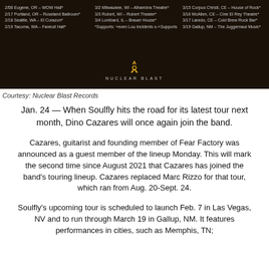[Figure (photo): Dark concert/tour poster background with tour dates listed in three columns and Nuclear Blast Records logo at bottom]
Courtesy: Nuclear Blast Records
Jan. 24 — When Soulfly hits the road for its latest tour next month, Dino Cazares will once again join the band.
Cazares, guitarist and founding member of Fear Factory was announced as a guest member of the lineup Monday. This will mark the second time since August 2021 that Cazares has joined the band's touring lineup. Cazares replaced Marc Rizzo for that tour, which ran from Aug. 20-Sept. 24.
Soulfly's upcoming tour is scheduled to launch Feb. 7 in Las Vegas, NV and to run through March 19 in Gallup, NM. It features performances in cities, such as Memphis, TN;